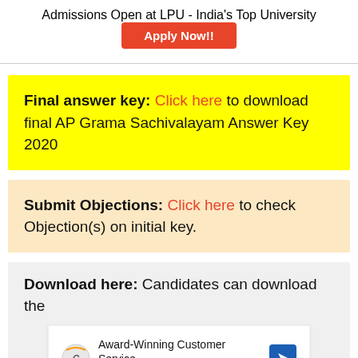Admissions Open at LPU - India's Top University
Apply Now!!
Final answer key: Click here to download final AP Grama Sachivalayam Answer Key 2020
Submit Objections: Click here to check Objection(s) on initial key.
Download here: Candidates can download the
[Figure (other): Advertisement overlay: Award-Winning Customer Service CoinFlip Bitcoin ATM with navigation icon]